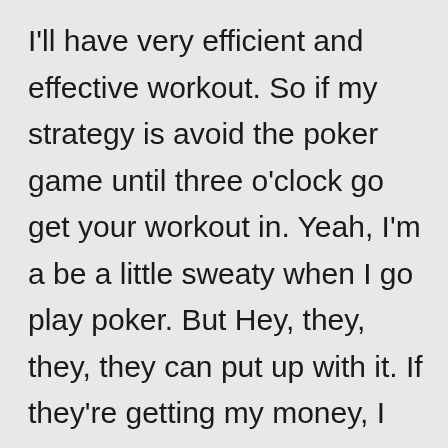I'll have very efficient and effective workout. So if my strategy is avoid the poker game until three o'clock go get your workout in. Yeah, I'm a be a little sweaty when I go play poker. But Hey, they, they, they can put up with it. If they're getting my money, I have an obstacle